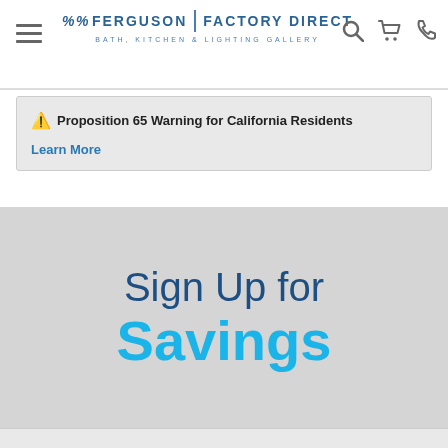Ferguson Factory Direct – Bath, Kitchen & Lighting Gallery
⚠ Proposition 65 Warning for California Residents
Learn More
Sign Up for Savings